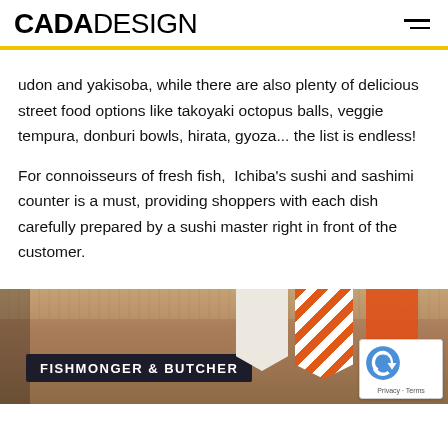CADADESIGN
udon and yakisoba, while there are also plenty of delicious street food options like takoyaki octopus balls, veggie tempura, donburi bowls, hirata, gyoza... the list is endless!
For connoisseurs of fresh fish,  Ichiba's sushi and sashimi counter is a must, providing shoppers with each dish carefully prepared by a sushi master right in front of the customer.
[Figure (photo): Interior photo of a food market or store showing a sign reading 'FISHMONGER & BUTCHER' with warm wooden ceiling slats and decorative fabric banners in white and orange tones. A reCAPTCHA badge is visible in the bottom-right corner.]